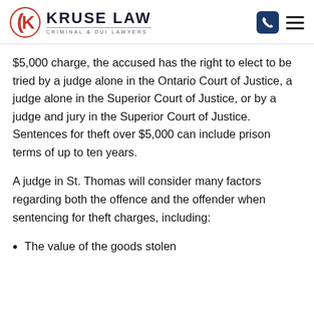KRUSE LAW CRIMINAL & DUI LAWYERS
$5,000 charge, the accused has the right to elect to be tried by a judge alone in the Ontario Court of Justice, a judge alone in the Superior Court of Justice, or by a judge and jury in the Superior Court of Justice. Sentences for theft over $5,000 can include prison terms of up to ten years.
A judge in St. Thomas will consider many factors regarding both the offence and the offender when sentencing for theft charges, including:
The value of the goods stolen